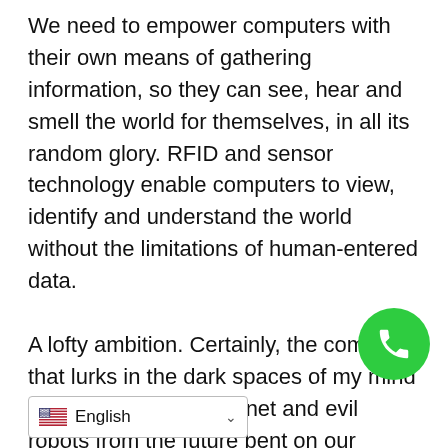We need to empower computers with their own means of gathering information, so they can see, hear and smell the world for themselves, in all its random glory. RFID and sensor technology enable computers to view, identify and understand the world without the limitations of human-entered data. A lofty ambition. Certainly, the comedian that lurks in the dark spaces of my mind cracks wise about Skynet and evil robots from the future bent on our destruction. What is troubling is the possibility that security is not taken into account with these various implementations. All of that data is being harvested in an automated fashion but, who has access to the data? What type of information is actually being collected? Has my coffee machine been pressed into service by the government? Sure, I'm being just